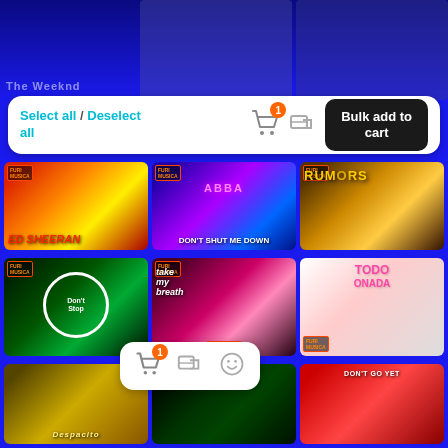[Figure (screenshot): Music streaming app screenshot showing a grid of album art thumbnails with a bulk-add-to-cart toolbar. Albums visible include Ed Sheeran, ABBA Don't Shut Me Down, Rumors, Don't Stop, Take My Breath, Todo o Nada, Despacito, David Guetta & MORTEN, and Don't Go Yet. A white toolbar at top shows 'Select all / Deselect all' links in cyan, a shopping cart icon with badge '1', a remove icon, and a dark 'Bulk add to cart' button. A second smaller toolbar with cart, remove, and smiley icons appears over the lower grid.]